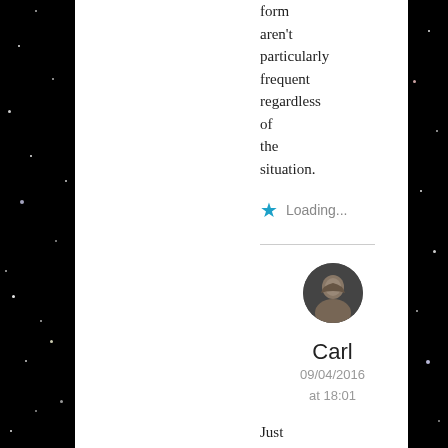form aren't particularly frequent regardless of the situation.
Loading...
[Figure (photo): Circular avatar photo of user Carl]
Carl
09/04/2016 at 18:01
Just to be